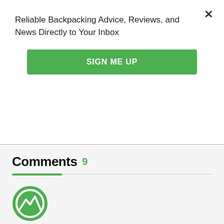Reliable Backpacking Advice, Reviews, and News Directly to Your Inbox
[Figure (other): Green 'SIGN ME UP' button]
Comments 9
[Figure (logo): Green circular mountain/hiking logo icon]
NIGHT WHISPERER : JUL 15TH
What about Brown Blazing? Camping privy to privy.